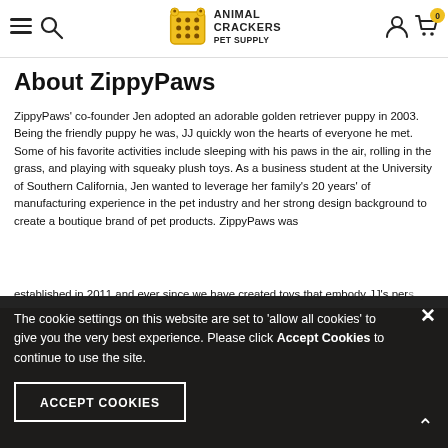Animal Crackers Pet Supply — navigation header with hamburger menu, search, logo, account icon, and cart (0)
About ZippyPaws
ZippyPaws' co-founder Jen adopted an adorable golden retriever puppy in 2003. Being the friendly puppy he was, JJ quickly won the hearts of everyone he met. Some of his favorite activities include sleeping with his paws in the air, rolling in the grass, and playing with squeaky plush toys. As a business student at the University of Southern California, Jen wanted to leverage her family's 20 years' of manufacturing experience in the pet industry and her strong design background to create a boutique brand of pet products. ZippyPaws was established in 2011 and ever since we have created toys that embody JJ's personality, quality
The cookie settings on this website are set to 'allow all cookies' to give you the very best experience. Please click Accept Cookies to continue to use the site.
ACCEPT COOKIES